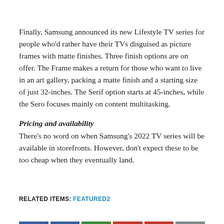Finally, Samsung announced its new Lifestyle TV series for people who'd rather have their TVs disguised as picture frames with matte finishes. Three finish options are on offer. The Frame makes a return for those who want to live in an art gallery, packing a matte finish and a starting size of just 32-inches. The Serif option starts at 45-inches, while the Sero focuses mainly on content multitasking.
Pricing and availability
There's no word on when Samsung's 2022 TV series will be available in storefronts. However, don't expect these to be too cheap when they eventually land.
RELATED ITEMS: FEATURED2